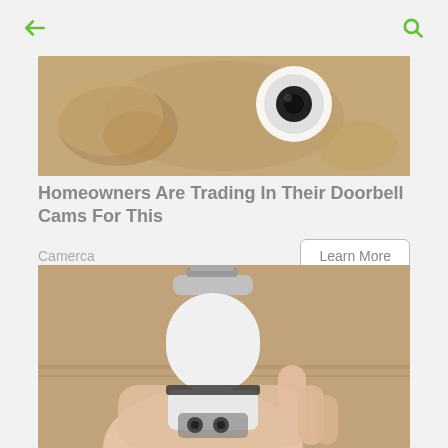← (back) | 🔍 (search)
[Figure (photo): Close-up photo of a doorbell camera installed, with bread-like background texture]
Homeowners Are Trading In Their Doorbell Cams For This
Camerca
Learn More
[Figure (photo): A hand holding a white bulb-shaped security camera device against a wooden background]